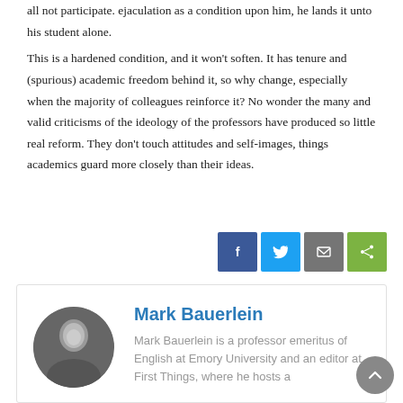all not participate. ejaculation as a condition upon him, he lands it unto his student alone.

This is a hardened condition, and it won't soften. It has tenure and (spurious) academic freedom behind it, so why change, especially when the majority of colleagues reinforce it? No wonder the many and valid criticisms of the ideology of the professors have produced so little real reform. They don't touch attitudes and self-images, things academics guard more closely than their ideas.
[Figure (other): Social share buttons: Facebook (blue), Twitter (light blue), Email (grey), Share (green)]
[Figure (photo): Circular black and white headshot photo of Mark Bauerlein]
Mark Bauerlein
Mark Bauerlein is a professor emeritus of English at Emory University and an editor at First Things, where he hosts a